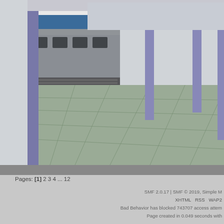[Figure (screenshot): 3D rendered train platform scene showing a train on the left side, tiled concrete floor in perspective, and blue/purple structural columns. The platform appears to be a computer-generated simulation of a transit station.]
ALSO: project list updated, check first page.
Pages: [1] 2 3 4 ... 12
SMF 2.0.17 | SMF © 2019, Simple M
XHTML RSS WAP2
Bad Behavior has blocked 743707 access attem
Page created in 0.049 seconds with